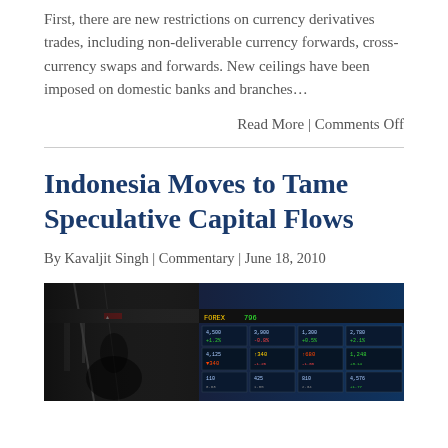First, there are new restrictions on currency derivatives trades, including non-deliverable currency forwards, cross-currency swaps and forwards. New ceilings have been imposed on domestic banks and branches…
Read More | Comments Off
Indonesia Moves to Tame Speculative Capital Flows
By Kavaljit Singh | Commentary | June 18, 2010
[Figure (photo): Stock exchange trading screens showing financial data with colorful numbers and ticker information, partially showing a person's silhouette in the foreground.]